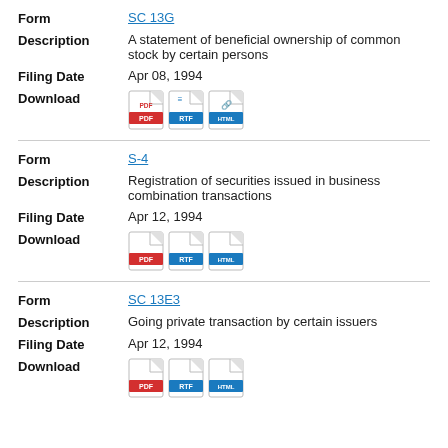| Field | Value |
| --- | --- |
| Form | SC 13G |
| Description | A statement of beneficial ownership of common stock by certain persons |
| Filing Date | Apr 08, 1994 |
| Download | [PDF] [RTF] [HTML] |
| Form | S-4 |
| Description | Registration of securities issued in business combination transactions |
| Filing Date | Apr 12, 1994 |
| Download | [PDF] [RTF] [HTML] |
| Form | SC 13E3 |
| Description | Going private transaction by certain issuers |
| Filing Date | Apr 12, 1994 |
| Download | [PDF] [RTF] [HTML] |